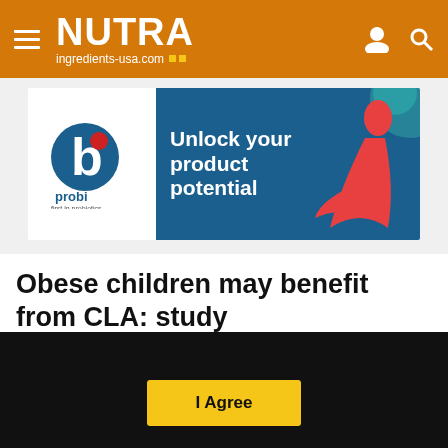NUTRA ingredients-usa.com
[Figure (advertisement): Probi probiotics ad banner: 'Unlock your product potential' with dancer in red dress on blue background]
Obese children may benefit from CLA: study
This website uses cookies. By continuing to browse our website, you are agreeing to our use of cookies. You can learn more about cookies by visiting our privacy & cookies policy page.
I Agree